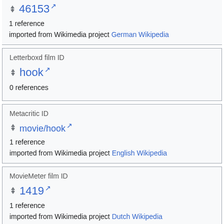46153 [external link]
1 reference
imported from Wikimedia project German Wikipedia
Letterboxd film ID
hook [external link]
0 references
Metacritic ID
movie/hook [external link]
1 reference
imported from Wikimedia project English Wikipedia
MovieMeter film ID
1419 [external link]
1 reference
imported from Wikimedia project Dutch Wikipedia